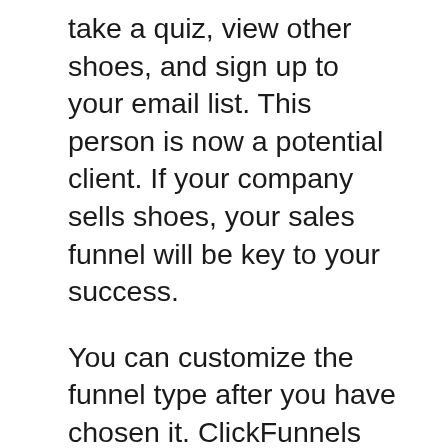take a quiz, view other shoes, and sign up to your email list. This person is now a potential client. If your company sells shoes, your sales funnel will be key to your success.
You can customize the funnel type after you have chosen it. ClickFunnels lets you change the text, select your colors, add autoresponders, and more. Then, customize the funnel to suit your goals. You can also customize it if it's something you like. ClickFunnels allows you to modify it right on your website. You can also use the classic funnel maker to personalize your funnel.
Next is to create a content plan. Your landing page should contain the right messages. Your visitors are more likely to convert if your